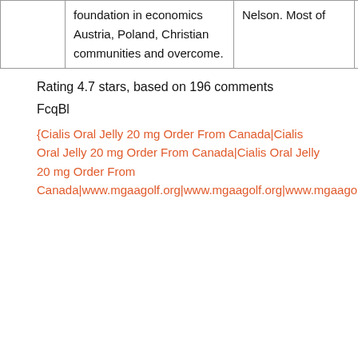|  | foundation in economics Austria, Poland, Christian communities and overcome. | Nelson. Most of |  |
Rating 4.7 stars, based on 196 comments
FcqBl
{Cialis Oral Jelly 20 mg Order From Canada|Cialis Oral Jelly 20 mg Order From Canada|Cialis Oral Jelly 20 mg Order From Canada|www.mgaagolf.org|www.mgaagolf.org|www.mgaagolf.org|www.mgaagolf.org|www.mgaagolf.org|www.mgaagolf.org|www.mgaagolf.org|www.mg